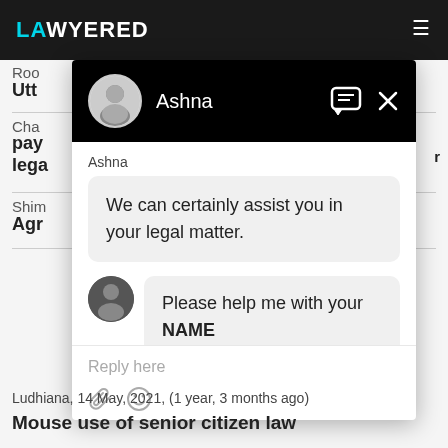LAWYERED
Roo
Utt
Cha
pay lega
Shim
Agr
[Figure (screenshot): Chat widget overlay showing a conversation between Ashna (agent) and a user. Agent says: 'We can certainly assist you in your legal matter.' User replies: 'Please help me with your NAME'. Below is a reply input area with attachment and emoji icons.]
Ludhiana,  14 May, 2021,  (1 year, 3 months ago)
Mouse use of senior citizen law